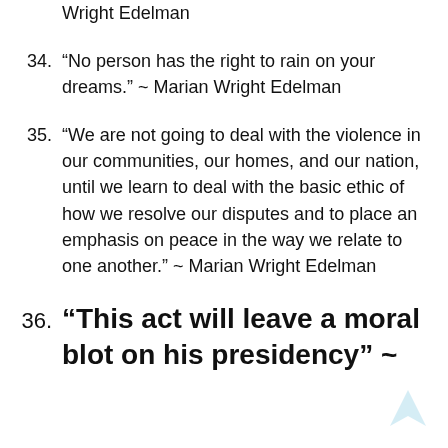Wright Edelman
34. “No person has the right to rain on your dreams.” ~ Marian Wright Edelman
35. “We are not going to deal with the violence in our communities, our homes, and our nation, until we learn to deal with the basic ethic of how we resolve our disputes and to place an emphasis on peace in the way we relate to one another.” ~ Marian Wright Edelman
36. “This act will leave a moral blot on his presidency” ~